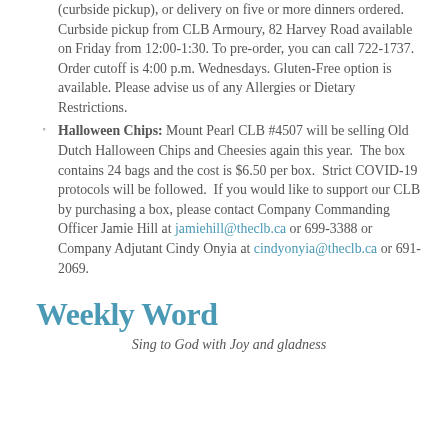(curbside pickup), or delivery on five or more dinners ordered. Curbside pickup from CLB Armoury, 82 Harvey Road available on Friday from 12:00-1:30. To pre-order, you can call 722-1737. Order cutoff is 4:00 p.m. Wednesdays. Gluten-Free option is available. Please advise us of any Allergies or Dietary Restrictions.
Halloween Chips: Mount Pearl CLB #4507 will be selling Old Dutch Halloween Chips and Cheesies again this year. The box contains 24 bags and the cost is $6.50 per box. Strict COVID-19 protocols will be followed. If you would like to support our CLB by purchasing a box, please contact Company Commanding Officer Jamie Hill at jamiehill@theclb.ca or 699-3388 or Company Adjutant Cindy Onyia at cindyonyia@theclb.ca or 691-2069.
Weekly Word
Sing to God with Joy and gladness